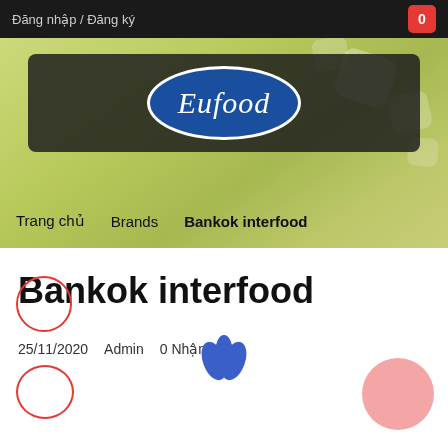Đăng nhập / Đăng ký
[Figure (logo): Eufood logo — blue oval with white italic text 'Eufood' on dark background banner]
Trang chủ   Brands   Bankok interfood
Bankok interfood
25/11/2020   Admin   0 Nhận xét